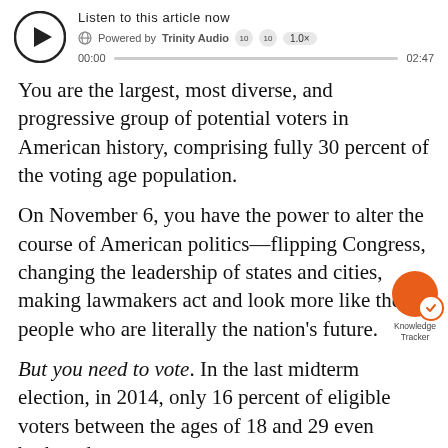[Figure (screenshot): Audio player widget: play button (circle with triangle), title 'Listen to this article now', globe icon, 'Powered by Trinity Audio', skip buttons, 1.0x speed button, progress bar from 00:00 to 02:47]
You are the largest, most diverse, and progressive group of potential voters in American history, comprising fully 30 percent of the voting age population.
On November 6, you have the power to alter the course of American politics—flipping Congress, changing the leadership of states and cities, making lawmakers act and look more like the people who are literally the nation's future.
[Figure (illustration): Knowledge Tracker orange circle icon with orange checkmark circle overlay, labeled 'Knowledge Tracker']
But you need to vote. In the last midterm election, in 2014, only 16 percent of eligible voters between the ages of 18 and 29 even bothered.